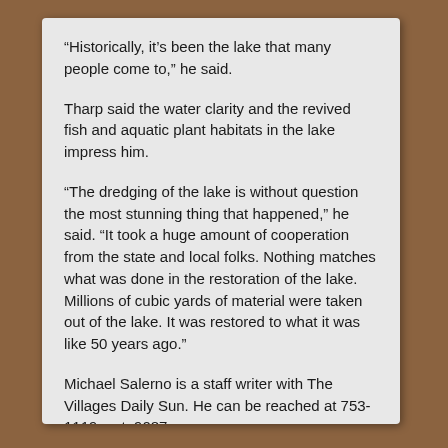“Historically, it’s been the lake that many people come to,” he said.
Tharp said the water clarity and the revived fish and aquatic plant habitats in the lake impress him.
“The dredging of the lake is without question the most stunning thing that happened,” he said. “It took a huge amount of cooperation from the state and local folks. Nothing matches what was done in the restoration of the lake. Millions of cubic yards of material were taken out of the lake. It was restored to what it was like 50 years ago.”
Michael Salerno is a staff writer with The Villages Daily Sun. He can be reached at 753-1119, ext. 9087, or michael.salerno@thevillagesmedia.com.
View Article